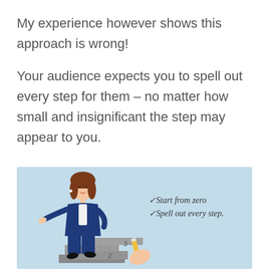My experience however shows this approach is wrong!
Your audience expects you to spell out every step for them – no matter how small and insignificant the step may appear to you.
[Figure (illustration): Illustration of a businesswoman walking up steps/stairs, with a checklist showing checkmarks next to 'Start from zero' and 'Spell out every step.' A hand holding a pencil writes on the steps numbered 2 and 3. Light blue background.]